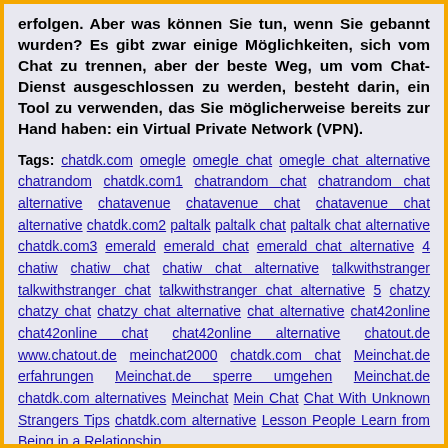erfolgen. Aber was können Sie tun, wenn Sie gebannt wurden? Es gibt zwar einige Möglichkeiten, sich vom Chat zu trennen, aber der beste Weg, um vom Chat-Dienst ausgeschlossen zu werden, besteht darin, ein Tool zu verwenden, das Sie möglicherweise bereits zur Hand haben: ein Virtual Private Network (VPN).
Tags: chatdk.com omegle omegle chat omegle chat alternative chatrandom chatdk.com1 chatrandom chat chatrandom chat alternative chatavenue chatavenue chat chatavenue chat alternative chatdk.com2 paltalk paltalk chat paltalk chat alternative chatdk.com3 emerald emerald chat emerald chat alternative 4 chatiw chatiw chat chatiw chat alternative talkwithstranger talkwithstranger chat talkwithstranger chat alternative 5 chatzy chatzy chat chatzy chat alternative chat alternative chat42online chat42online chat chat42online alternative chatout.de www.chatout.de meinchat2000 chatdk.com chat Meinchat.de erfahrungen Meinchat.de sperre umgehen Meinchat.de chatdk.com alternatives Meinchat Mein Chat Chat With Unknown Strangers Tips chatdk.com alternative Lesson People Learn from Being in a Relationship
Meinchat.de Chat Alternative
Published on July 2020